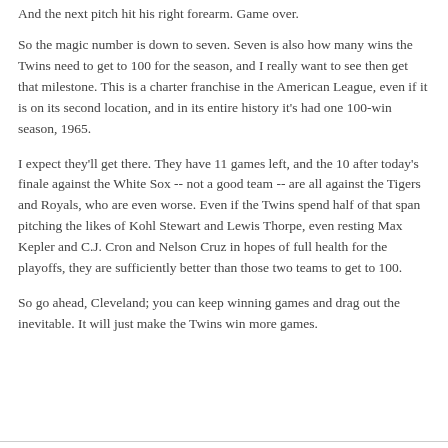And the next pitch hit his right forearm. Game over.
So the magic number is down to seven. Seven is also how many wins the Twins need to get to 100 for the season, and I really want to see then get that milestone. This is a charter franchise in the American League, even if it is on its second location, and in its entire history it's had one 100-win season, 1965.
I expect they'll get there. They have 11 games left, and the 10 after today's finale against the White Sox -- not a good team -- are all against the Tigers and Royals, who are even worse. Even if the Twins spend half of that span pitching the likes of Kohl Stewart and Lewis Thorpe, even resting Max Kepler and C.J. Cron and Nelson Cruz in hopes of full health for the playoffs, they are sufficiently better than those two teams to get to 100.
So go ahead, Cleveland; you can keep winning games and drag out the inevitable. It will just make the Twins win more games.